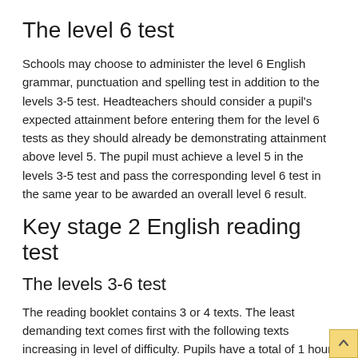The level 6 test
Schools may choose to administer the level 6 English grammar, punctuation and spelling test in addition to the levels 3-5 test. Headteachers should consider a pupil's expected attainment before entering them for the level 6 tests as they should already be demonstrating attainment above level 5. The pupil must achieve a level 5 in the levels 3-5 test and pass the corresponding level 6 test in the same year to be awarded an overall level 6 result.
Key stage 2 English reading test
The levels 3-6 test
The reading booklet contains 3 or 4 texts. The least demanding text comes first with the following texts increasing in level of difficulty. Pupils have a total of 1 hour to read the texts and complete the